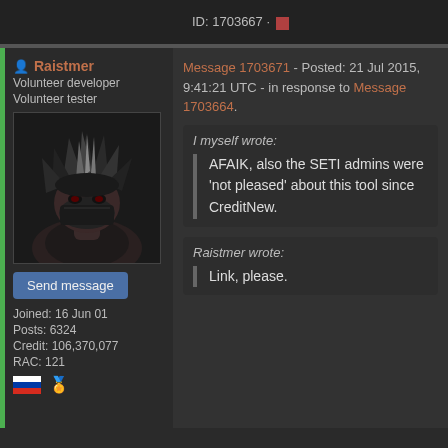ID: 1703667 · ■
Raistmer
Volunteer developer
Volunteer tester
[Figure (illustration): Anime-style avatar of a character with spiky black and white hair wearing a dark mask/outfit]
Send message
Joined: 16 Jun 01
Posts: 6324
Credit: 106,370,077
RAC: 121
Message 1703671 - Posted: 21 Jul 2015, 9:41:21 UTC - in response to Message 1703664.
I myself wrote:
AFAIK, also the SETI admins were 'not pleased' about this tool since CreditNew.
Raistmer wrote:
Link, please.